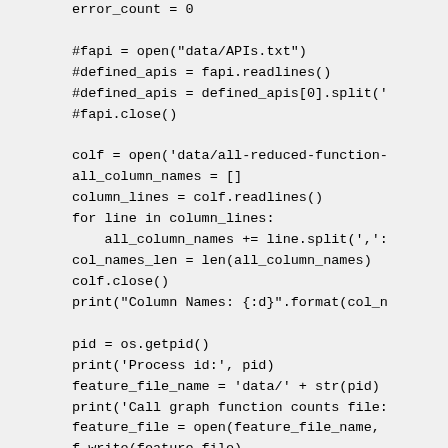error_count = 0

#fapi = open("data/APIs.txt")
#defined_apis = fapi.readlines()
#defined_apis = defined_apis[0].split('
#fapi.close()

colf = open('data/all-reduced-function-
all_column_names = []
column_lines = colf.readlines()
for line in column_lines:
    all_column_names += line.split(',';
col_names_len = len(all_column_names)
colf.close()
print("Column Names: {:d}".format(col_n

pid = os.getpid()
print('Process id:', pid)
feature_file_name = 'data/' + str(pid)
print('Call graph function counts file:
feature_file = open(feature_file_name,
f.write(feature_file)